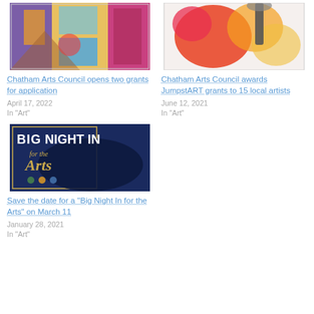[Figure (photo): Colorful art exhibition with bright panels of purple, blue, orange, and pink artwork displayed in windows or panels]
Chatham Arts Council opens two grants for application
April 17, 2022
In "Art"
[Figure (photo): Hand holding a brush painting colorful flowers — orange poppies and other blooms on canvas]
Chatham Arts Council awards JumpstART grants to 15 local artists
June 12, 2021
In "Art"
[Figure (illustration): Big Night In for the Arts event promotional graphic — dark navy blue with gold brushstroke and white bold text]
Save the date for a “Big Night In for the Arts” on March 11
January 28, 2021
In "Art"